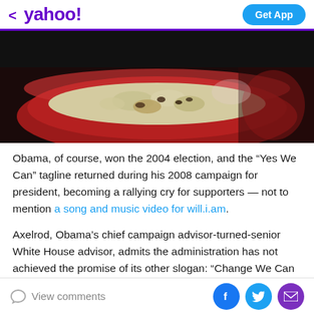< yahoo! | Get App
[Figure (photo): Photo of food (salad or mixed dish) in a red bowl on a dark background]
Obama, of course, won the 2004 election, and the “Yes We Can” tagline returned during his 2008 campaign for president, becoming a rallying cry for supporters — not to mention a song and music video for will.i.am.
Axelrod, Obama’s chief campaign advisor-turned-senior White House advisor, admits the administration has not achieved the promise of its other slogan: “Change We Can Believe In.”
View comments | Facebook | Twitter | Mail